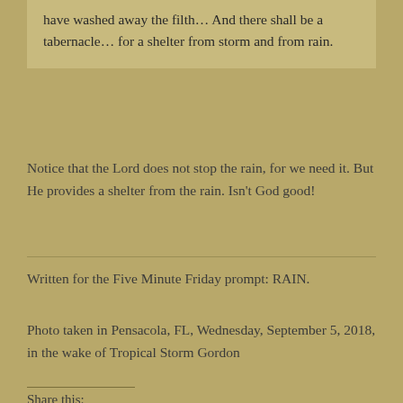have washed away the filth… And there shall be a tabernacle… for a shelter from storm and from rain.
Notice that the Lord does not stop the rain, for we need it. But He provides a shelter from the rain. Isn't God good!
Written for the Five Minute Friday prompt: RAIN.
Photo taken in Pensacola, FL, Wednesday, September 5, 2018, in the wake of Tropical Storm Gordon
Share this: